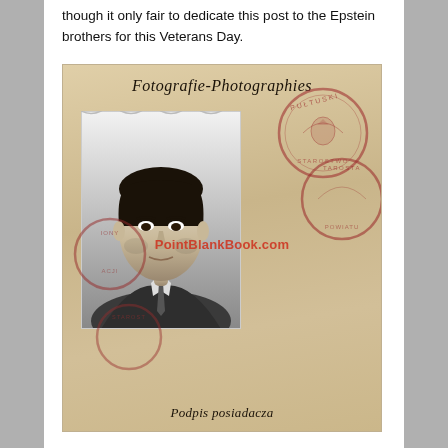though it only fair to dedicate this post to the Epstein brothers for this Veterans Day.
[Figure (photo): Vintage passport or identity document page showing 'Fotografie-Photographies' header in cursive script, a black-and-white portrait photo of a young man in a suit and tie, multiple red circular official stamps overlapping the document, a watermark reading 'PointBlankBook.com' in red, and cursive text at the bottom reading 'Podpis posiadacza'.]